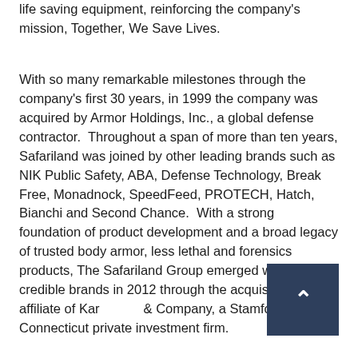life saving equipment, reinforcing the company's mission, Together, We Save Lives.
With so many remarkable milestones through the company's first 30 years, in 1999 the company was acquired by Armor Holdings, Inc., a global defense contractor. Throughout a span of more than ten years, Safariland was joined by other leading brands such as NIK Public Safety, ABA, Defense Technology, Break Free, Monadnock, SpeedFeed, PROTECH, Hatch, Bianchi and Second Chance. With a strong foundation of product development and a broad legacy of trusted body armor, less lethal and forensics products, The Safariland Group emerged with these credible brands in 2012 through the acquisition by an affiliate of Kar[l] & Company, a Stamford, Connecticut private investment firm.